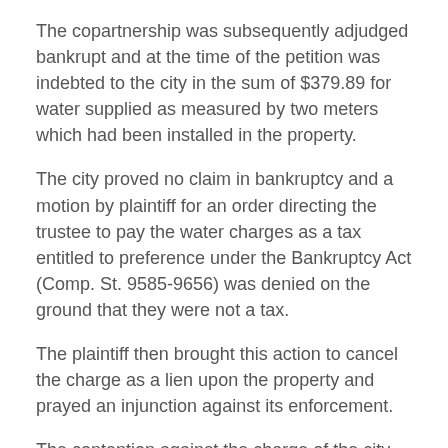The copartnership was subsequently adjudged bankrupt and at the time of the petition was indebted to the city in the sum of $379.89 for water supplied as measured by two meters which had been installed in the property.
The city proved no claim in bankruptcy and a motion by plaintiff for an order directing the trustee to pay the water charges as a tax entitled to preference under the Bankruptcy Act (Comp. St. 9585-9656) was denied on the ground that they were not a tax.
The plaintiff then brought this action to cancel the charge as a lien upon the property and prayed an injunction against its enforcement.
The contention against the charge of the city and the lien it asserts is that they are in violation of section 1 of the Fourteenth Amendment of the Constitution of the United States and because they deprive plaintiff of property without